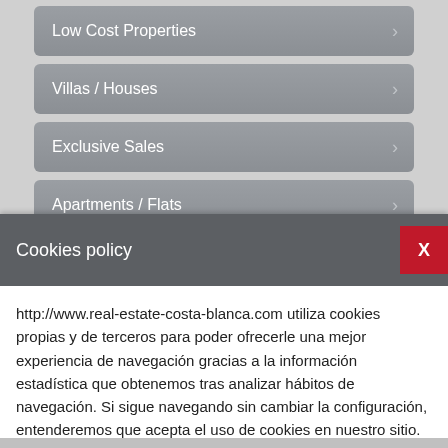Low Cost Properties
Villas / Houses
Exclusive Sales
Apartments / Flats
Fincas
Cookies policy
http://www.real-estate-costa-blanca.com utiliza cookies propias y de terceros para poder ofrecerle una mejor experiencia de navegación gracias a la información estadística que obtenemos tras analizar hábitos de navegación. Si sigue navegando sin cambiar la configuración, entenderemos que acepta el uso de cookies en nuestro sitio. Si desea más información o modificar el uso de las cookies lea nuestra cookies policy